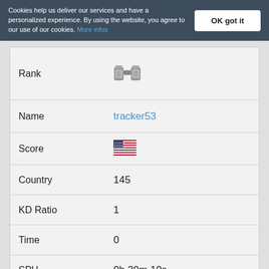Cookies help us deliver our services and have a personalized experience. By using the website, you agree to our use of our cookies. More infos
| Field | Value |
| --- | --- |
| Rank | (icon) |
| Name | tracker53 |
| Score | (US flag) |
| Country | 145 |
| KD Ratio | 1 |
| Time | 0 |
| SPH | 0h 30m 10s |
| Position | 184 |
| Rank |  |